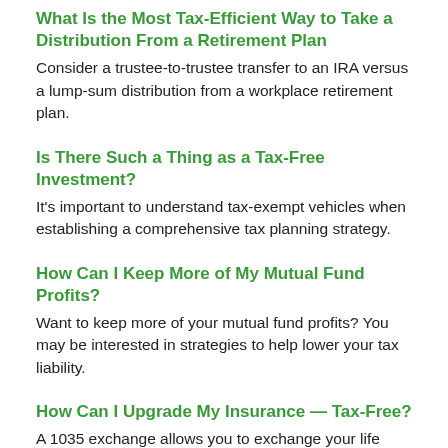What Is the Most Tax-Efficient Way to Take a Distribution From a Retirement Plan
Consider a trustee-to-trustee transfer to an IRA versus a lump-sum distribution from a workplace retirement plan.
Is There Such a Thing as a Tax-Free Investment?
It's important to understand tax-exempt vehicles when establishing a comprehensive tax planning strategy.
How Can I Keep More of My Mutual Fund Profits?
Want to keep more of your mutual fund profits? You may be interested in strategies to help lower your tax liability.
How Can I Upgrade My Insurance — Tax-Free?
A 1035 exchange allows you to exchange your life insurance policy for a new one, the same or without tax liability.